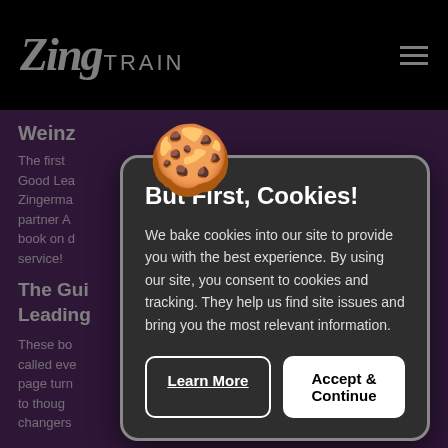ZingTRAIN
Weinz...
Get a peek behind-the- of Zing...
The first Good Lea Zingerma partner A book on d service!
The Gui Leading
These bo called eve page turn to though changers
Go to Library
[Figure (screenshot): Cookie consent modal dialog overlay on ZingTrain website with cookie emoji, title 'But First, Cookies!', descriptive text about cookie usage, and two buttons: 'Learn More' and 'Accept & Continue']
But First, Cookies!
We bake cookies into our site to provide you with the best experience. By using our site, you consent to cookies and tracking. They help us find site issues and bring you the most relevant information.